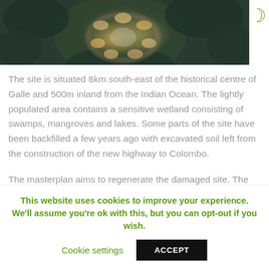[Figure (photo): Aerial view of eco-resort or architectural development surrounded by lush forest, with illuminated pods or structures arranged in a circular pattern, photographed at dusk or dawn]
The site is situated 8km south-east of the historical centre of Galle and 500m inland from the Indian Ocean. The lightly populated area contains a sensitive wetland consisting of swamps, mangroves and lakes. Some parts of the site have been backfilled a few years ago with excavated soil left from the construction of the new highway to Colombo.
The masterplan aims to regenerate the damaged site. The backfill will be removed using an excavator, leaving a new central lake which is
This website uses cookies to improve your experience. We'll assume you're ok with this, but you can opt-out if you wish.
Cookie settings   ACCEPT